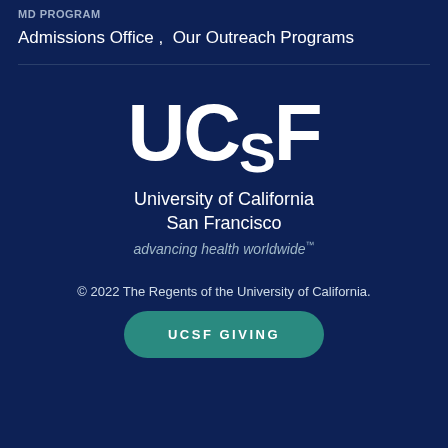MD PROGRAM
Admissions Office ,  Our Outreach Programs
[Figure (logo): UCSF University of California San Francisco logo with text 'advancing health worldwide™']
© 2022 The Regents of the University of California.
UCSF GIVING